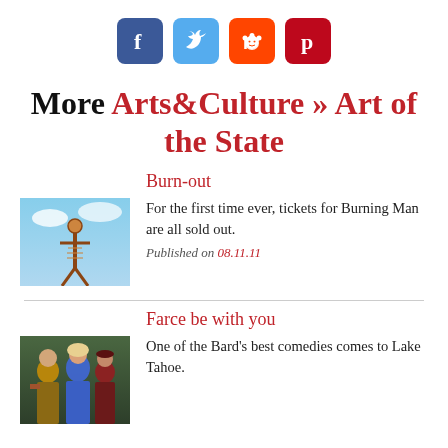[Figure (infographic): Social media share icons: Facebook (blue), Twitter (light blue), Reddit (orange), Pinterest (red)]
More Arts&Culture » Art of the State
[Figure (photo): Photograph of Burning Man sculpture against sky]
Burn-out
For the first time ever, tickets for Burning Man are all sold out.
Published on 08.11.11
[Figure (photo): Photograph of actors in costume for a play]
Farce be with you
One of the Bard's best comedies comes to Lake Tahoe.